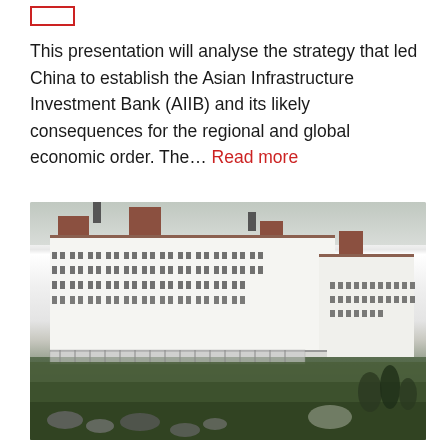[tag label — partially visible]
This presentation will analyse the strategy that led China to establish the Asian Infrastructure Investment Bank (AIIB) and its likely consequences for the regional and global economic order. The... Read more
[Figure (photo): Photograph of a large white multi-story hotel or resort building (likely the Mount Washington Hotel) with red/brown rooftops, set on a green hillside with rocks and trees in the foreground and an overcast sky behind.]